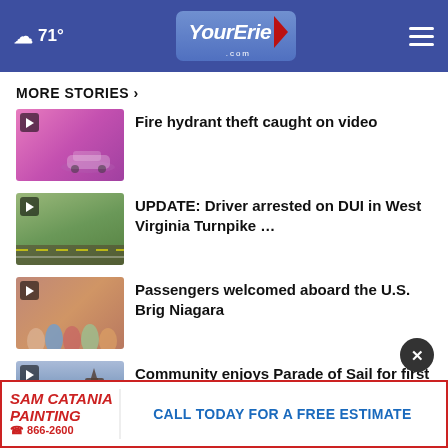☁ 71° | YourErie.com
MORE STORIES ›
[Figure (photo): Video thumbnail: pink-tinted security camera view of a car on a street]
Fire hydrant theft caught on video
[Figure (photo): Video thumbnail: aerial view of a highway with trees]
UPDATE: Driver arrested on DUI in West Virginia Turnpike …
[Figure (photo): Video thumbnail: group of people aboard a ship]
Passengers welcomed aboard the U.S. Brig Niagara
[Figure (photo): Video thumbnail: lighthouse and tall ships in harbor]
Community enjoys Parade of Sail for first day of …
[Figure (photo): Partial video thumbnail partially visible at bottom]
hat
[Figure (other): Sam Catania Painting advertisement banner - CALL TODAY FOR A FREE ESTIMATE 866-2600]